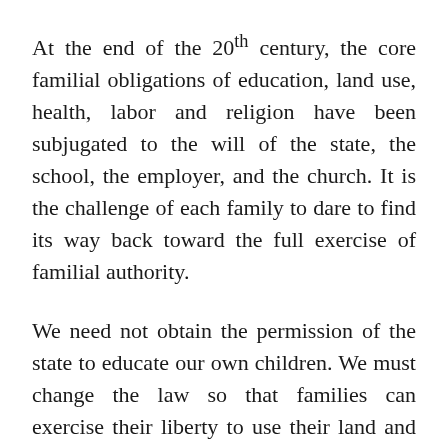At the end of the 20th century, the core familial obligations of education, land use, health, labor and religion have been subjugated to the will of the state, the school, the employer, and the church. It is the challenge of each family to dare to find its way back toward the full exercise of familial authority.
We need not obtain the permission of the state to educate our own children. We must change the law so that families can exercise their liberty to use their land and determine what is best for their health. We must recover the freedom to exercise the full measure of family authority which God has placed in our hand and to which God holds the family accountable. The church should play its part too, but judging by its response to the